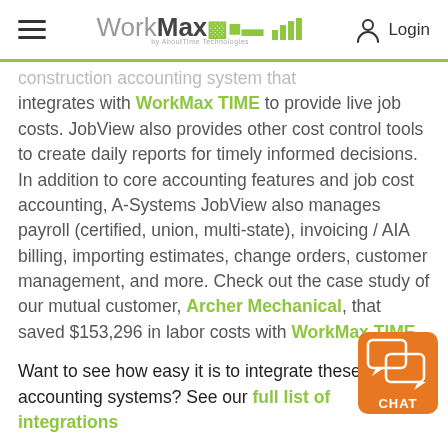WorkMax by AboutTime Technologies — Login
construction accounting system that integrates with WorkMax TIME to provide live job costs. JobView also provides other cost control tools to create daily reports for timely informed decisions. In addition to core accounting features and job cost accounting, A-Systems JobView also manages payroll (certified, union, multi-state), invoicing / AIA billing, importing estimates, change orders, customer management, and more. Check out the case study of our mutual customer, Archer Mechanical, that saved $153,296 in labor costs with WorkMax TIME.
Want to see how easy it is to integrate these two accounting systems? See our full list of integrations
[Figure (other): Orange chat widget button with speech bubble icons and CHAT label]